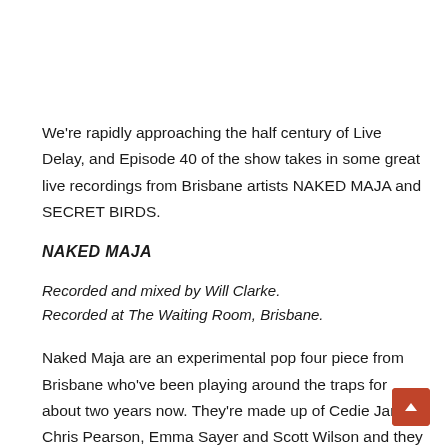We're rapidly approaching the half century of Live Delay, and Episode 40 of the show takes in some great live recordings from Brisbane artists NAKED MAJA and SECRET BIRDS.
NAKED MAJA
Recorded and mixed by Will Clarke.
Recorded at The Waiting Room, Brisbane.
Naked Maja are an experimental pop four piece from Brisbane who've been playing around the traps for about two years now. They're made up of Cedie Janso, Chris Pearson, Emma Sayer and Scott Wilson and they call the